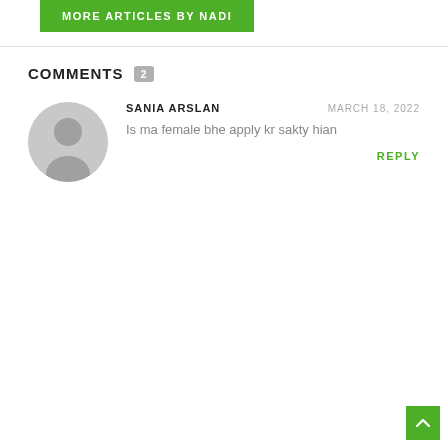[Figure (illustration): Green button labeled MORE ARTICLES BY NADI]
COMMENTS 2
[Figure (illustration): Gray circular avatar placeholder icon]
SANIA ARSLAN
MARCH 18, 2022
Is ma female bhe apply kr sakty hian
REPLY